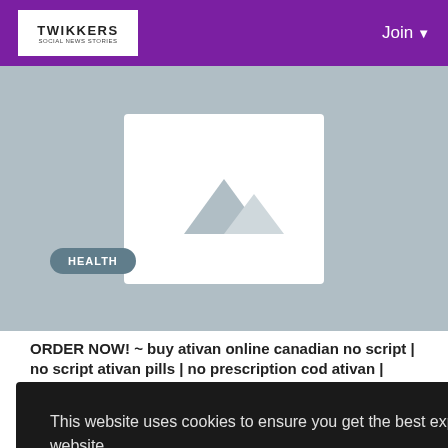TWIKKERS | Join
[Figure (illustration): Placeholder image with mountain/photo icon on grey background]
HEALTH
ORDER NOW! ~ buy ativan online canadian no script | no script ativan pills | no prescription cod ativan | cheap ativan without a prescription
Easy to Buy FDA Approved ativan # No Prescription Required!
This website uses cookies to ensure you get the best experience on our website
Learn More
Got It!